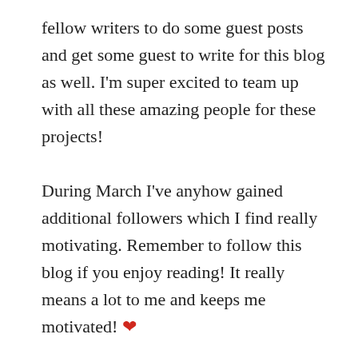fellow writers to do some guest posts and get some guest to write for this blog as well. I'm super excited to team up with all these amazing people for these projects!
During March I've anyhow gained additional followers which I find really motivating. Remember to follow this blog if you enjoy reading! It really means a lot to me and keeps me motivated! ❤